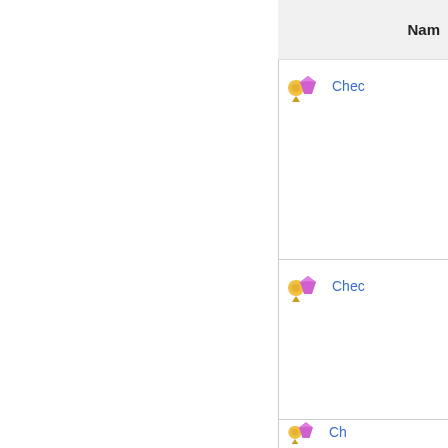| Name |
| --- |
| [icon] Chec... |
| [icon] Chec... |
| [icon] Ch... |